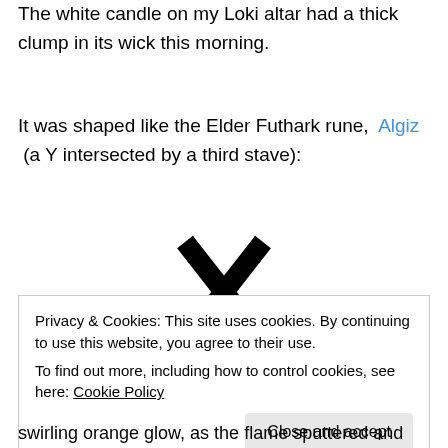The white candle on my Loki altar had a thick clump in its wick this morning.
It was shaped like the Elder Futhark rune, Algiz (a Y intersected by a third stave):
[Figure (illustration): The Algiz rune shape — a vertical stave with two diagonal arms branching upward from a central point, resembling a Y intersected by a vertical line, drawn in solid black.]
Privacy & Cookies: This site uses cookies. By continuing to use this website, you agree to their use.
To find out more, including how to control cookies, see here: Cookie Policy
Close and accept
swirling orange glow, as the flame sputtered and danced